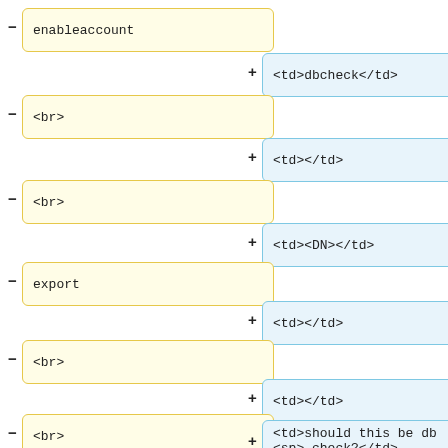[Figure (flowchart): A diff/comparison diagram showing yellow boxes on the left (removed items: enableaccount, <br>, <br>, export, <br>, <br>, <br>) with minus signs, and blue boxes on the right (added items: <td>dbcheck</td>, <td></td>, <td><DN></td>, <td></td>, <td></td>, <td>should this be db <sp> check?</td>) with plus signs.]